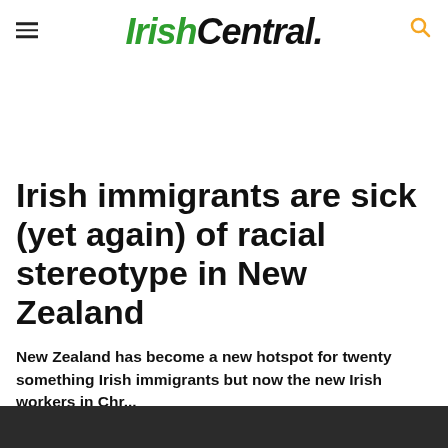IrishCentral.
Irish immigrants are sick (yet again) of racial stereotype in New Zealand
New Zealand has become a new hotspot for twenty something Irish immigrants but now the new Irish workers in Chr...
ANTOINETTE KELLY IrishCentral Apr 01 2012